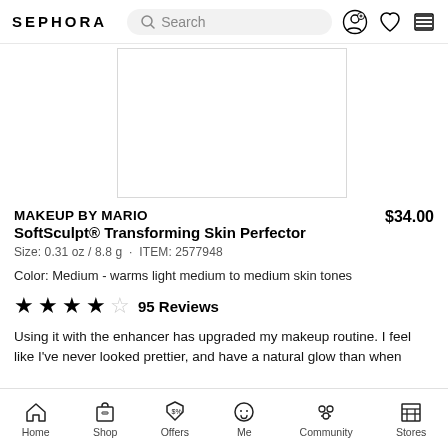SEPHORA  Search
[Figure (photo): Product image area - white rectangle with border, product not visible]
MAKEUP BY MARIO   $34.00
SoftSculpt® Transforming Skin Perfector
Size: 0.31 oz / 8.8 g  ·  ITEM: 2577948
Color: Medium - warms light medium to medium skin tones
★★★★☆ 95 Reviews
Using it with the enhancer has upgraded my makeup routine. I feel like I've never looked prettier, and have a natural glow than when
Home  Shop  Offers  Me  Community  Stores